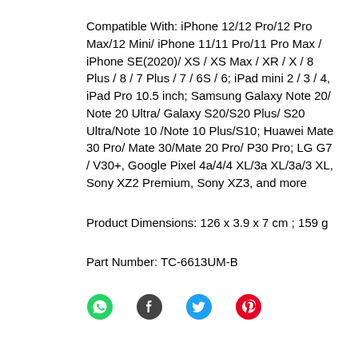Compatible With: iPhone 12/12 Pro/12 Pro Max/12 Mini/ iPhone 11/11 Pro/11 Pro Max / iPhone SE(2020)/ XS / XS Max / XR / X / 8 Plus / 8 / 7 Plus / 7 / 6S / 6; iPad mini 2 / 3 / 4, iPad Pro 10.5 inch; Samsung Galaxy Note 20/ Note 20 Ultra/ Galaxy S20/S20 Plus/ S20 Ultra/Note 10 /Note 10 Plus/S10; Huawei Mate 30 Pro/ Mate 30/Mate 20 Pro/ P30 Pro; LG G7 / V30+, Google Pixel 4a/4/4 XL/3a XL/3a/3 XL, Sony XZ2 Premium, Sony XZ3, and more
Product Dimensions: 126 x 3.9 x 7 cm ; 159 g
Part Number: TC-6613UM-B
[Figure (infographic): Social share icons: WhatsApp (green), Facebook (dark), Twitter (blue), Pinterest (red)]